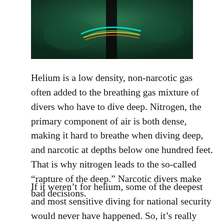[Figure (photo): Underwater photograph with dark background (deep green/teal), featuring a dark vertical bar (pole or equipment) with colorful wires or cables (cyan, yellow, orange) visible near the top center of the image.]
Helium is a low density, non-narcotic gas often added to the breathing gas mixture of divers who have to dive deep. Nitrogen, the primary component of air is both dense, making it hard to breathe when diving deep, and narcotic at depths below one hundred feet. That is why nitrogen leads to the so-called “rapture of the deep.” Narcotic divers make bad decisions.
If it weren’t for helium, some of the deepest and most sensitive diving for national security would never have happened. So, it’s really important. Commercial saturation diving in the